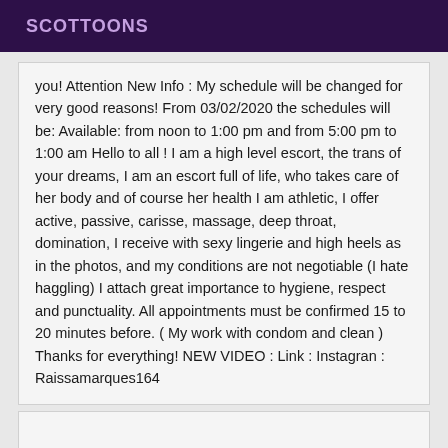SCOTTOONS
you! Attention New Info : My schedule will be changed for very good reasons! From 03/02/2020 the schedules will be: Available: from noon to 1:00 pm and from 5:00 pm to 1:00 am Hello to all ! I am a high level escort, the trans of your dreams, I am an escort full of life, who takes care of her body and of course her health I am athletic, I offer active, passive, carisse, massage, deep throat, domination, I receive with sexy lingerie and high heels as in the photos, and my conditions are not negotiable (I hate haggling) I attach great importance to hygiene, respect and punctuality. All appointments must be confirmed 15 to 20 minutes before. ( My work with condom and clean ) Thanks for everything! NEW VIDEO : Link : Instagran : Raissamarques164